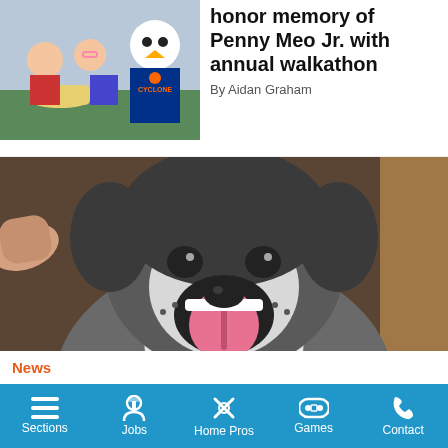[Figure (photo): Children with a baseball mascot wearing a Cyclone jersey at an event]
honor memory of Penny Meo Jr. with annual walkathon
By Aidan Graham
[Figure (photo): A happy husky dog with mouth open and tongue out]
News
Paws-itively awful: Thief dognaps Bergen Beach family's pooch on Easter Sunday
Sections  Jobs  Home Pros  Games  Contact